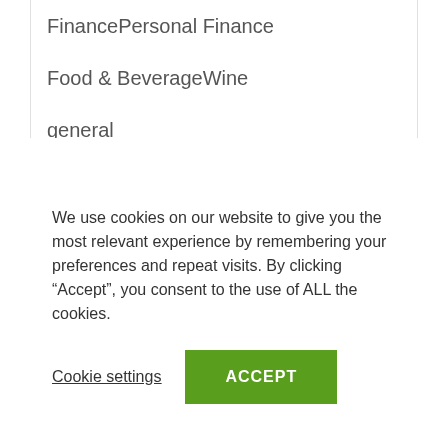FinancePersonal Finance
Food & BeverageWine
general
health
Health & FitnessExercise
Health & FitnessWeight Loss
health and fitness
Home & FamilyHolidays
Home & FamilyHome Improvement
We use cookies on our website to give you the most relevant experience by remembering your preferences and repeat visits. By clicking “Accept”, you consent to the use of ALL the cookies.
Cookie settings  ACCEPT